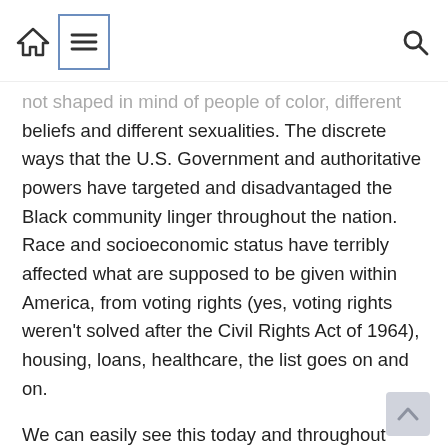[home icon] [menu icon] [search icon]
not shaped in mind of people of color, different beliefs and different sexualities. The discrete ways that the U.S. Government and authoritative powers have targeted and disadvantaged the Black community linger throughout the nation. Race and socioeconomic status have terribly affected what are supposed to be given within America, from voting rights (yes, voting rights weren’t solved after the Civil Rights Act of 1964), housing, loans, healthcare, the list goes on and on.
We can easily see this today and throughout history, how Black people have endlessly fought for basic human rights. And while one can argue that the system has somehow progressed because President Barack Obama was the nation’s former